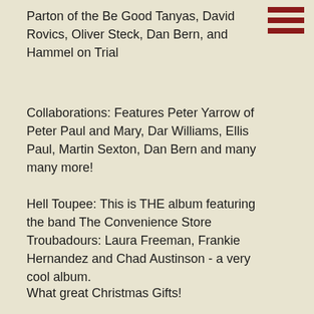Parton of the Be Good Tanyas, David Rovics, Oliver Steck, Dan Bern, and Hammel on Trial
[Figure (other): Hamburger menu icon with three dark red horizontal bars]
Collaborations: Features Peter Yarrow of Peter Paul and Mary, Dar Williams, Ellis Paul, Martin Sexton, Dan Bern and many many more!
Hell Toupee: This is THE album featuring the band The Convenience Store Troubadours: Laura Freeman, Frankie Hernandez and Chad Austinson - a very cool album.
What great Christmas Gifts!